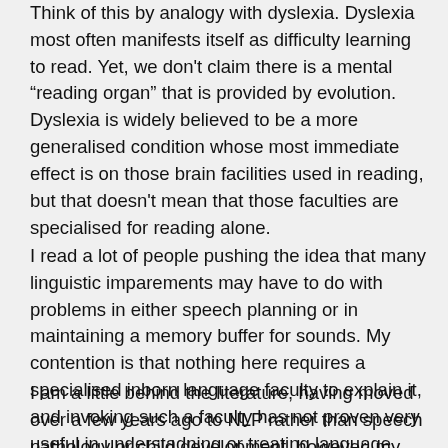Think of this by analogy with dyslexia. Dyslexia most often manifests itself as difficulty learning to read. Yet, we don't claim there is a mental “reading organ” that is provided by evolution. Dyslexia is widely believed to be a more generalised condition whose most immediate effect is on those brain facilities used in reading, but that doesn't mean that those faculties are specialised for reading alone.
I read a lot of people pushing the idea that many linguistic imparements may have to do with problems in either speech planning or in maintaining a memory buffer for sounds. My contention is that nothing here requires a specialised inborn language faculty to explain it, and invoking such a faculty has not proven very useful in understadning or treating language impairments.
I am a little behind the literature, having moved over a few years ago to NLP rather than speech pathology or child development, however, my understanding is that the rejection of the syntax/semantics separation